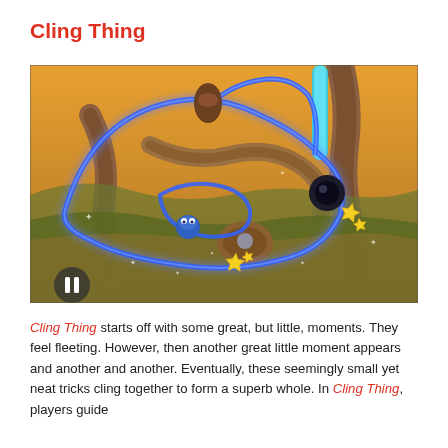Cling Thing
[Figure (screenshot): Screenshot of the Cling Thing mobile game showing a stylized organic environment with golden/brown background, blue glowing rope paths connecting tree-like structures, a small blue character, star collectibles, and a pause button in the lower left.]
Cling Thing starts off with some great, but little, moments. They feel fleeting. However, then another great little moment appears and another and another. Eventually, these seemingly small yet neat tricks cling together to form a superb whole. In Cling Thing, players guide